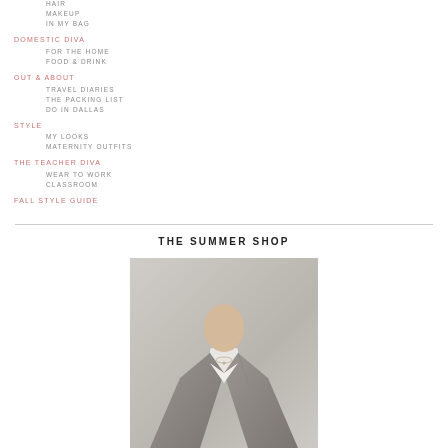HAIR
MAKEUP
IN MY BAG
DOMESTIC DIVA
FOR THE HOME
FOOD & DRINK
OUT & ABOUT
TRAVEL DIARIES
THE PACKING LIST
DO IN DALLAS
STYLE
MY LOOKS
MATERNITY OUTFITS
THE TEACHER DIVA
WEAR TO WORK
CLASSROOM
FALL STYLE GUIDE
THE SUMMER SHOP
[Figure (photo): Woman wearing a grey blazer over a white top with a necklace, photographed from the chest up against a light background]